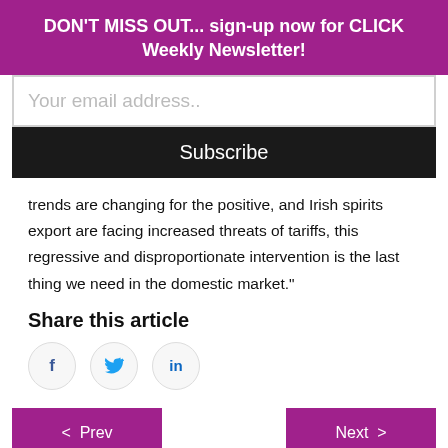DON'T MISS OUT... sign-up now for CLICK Weekly Newsletter!
[Figure (other): Email subscription input field with placeholder text 'Your email address..']
[Figure (other): Subscribe button (dark/black background, white text)]
trends are changing for the positive, and Irish spirits export are facing increased threats of tariffs, this regressive and disproportionate intervention is the last thing we need in the domestic market."
Share this article
[Figure (infographic): Social share icons: Facebook (f), Twitter (bird), LinkedIn (in) in circular outlines]
[Figure (other): Navigation buttons: '< Prev' on left and 'Next >' on right, both with purple/magenta background]